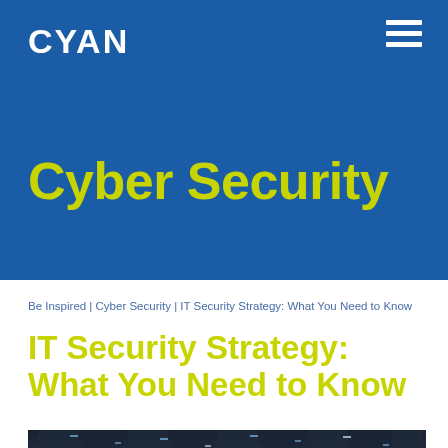CYAN
Cyber Security
Be Inspired | Cyber Security | IT Security Strategy: What You Need to Know
IT Security Strategy: What You Need to Know
[Figure (photo): A dark photo of server racks in a data center with blue lighting]